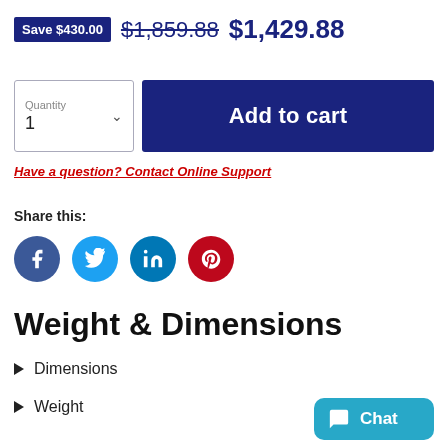Save $430.00  $1,859.88  $1,429.88
[Figure (other): Quantity selector box with label 'Quantity' and value '1' with dropdown arrow]
Add to cart
Have a question? Contact Online Support
Share this:
[Figure (infographic): Four social media icons: Facebook (blue circle), Twitter (blue circle), LinkedIn (blue circle), Pinterest (red circle)]
Weight & Dimensions
Dimensions
Weight
[Figure (other): Chat button in teal/cyan with chat icon and text 'Chat']